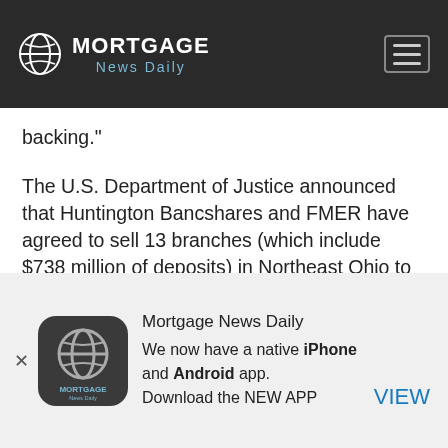MORTGAGE News Daily
backing."
The U.S. Department of Justice announced that Huntington Bancshares and FMER have agreed to sell 13 branches (which include $738 million of deposits) in Northeast Ohio to resolve antitrust concerns from their planned merger.
We find ourselves at the beginning of companies announcing their 2nd quarter earnings. For the big banks, mortgages are expected to be a bright spot
Mortgage News Daily
We now have a native iPhone and Android app. Download the NEW APP
VIEW